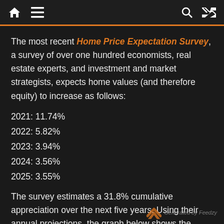Home (icon) Menu (icon) Search (icon) Shuffle (icon)
The most recent Home Price Expectation Survey, a survey of over one hundred economists, real estate experts, and investment and market strategists, expects home values (and therefore equity) to increase as follows:
2021: 11.74%
2022: 5.82%
2023: 3.94%
2024: 3.56%
2025: 3.55%
The survey estimates a 31.8% cumulative appreciation over the next five years. Using their annual projections, the graph below shows the equity build-up a purchaser could earn, using a
Generated by Feedzy